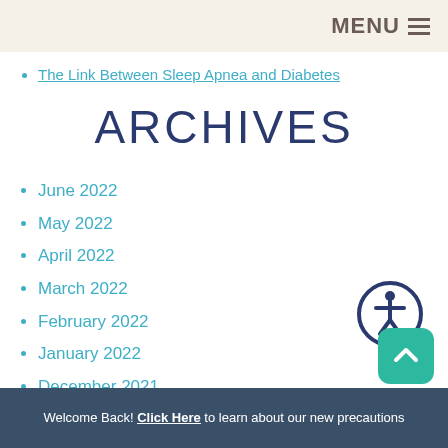MENU
The Link Between Sleep Apnea and Diabetes
ARCHIVES
June 2022
May 2022
April 2022
March 2022
February 2022
January 2022
December 2021
November 2021
October 2021
September 2021
[Figure (illustration): Accessibility icon: person in circle with dark blue border]
[Figure (illustration): Scroll-up button: teal rounded square with upward arrow]
Welcome Back! Click Here to learn about our new precautions